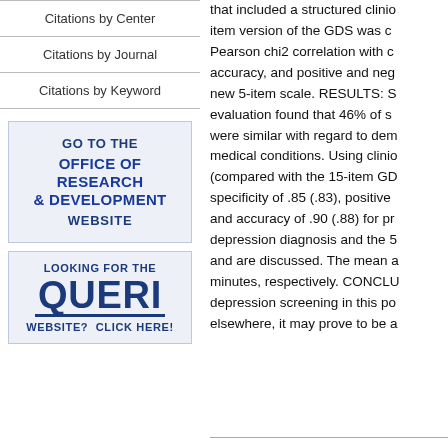Citations by Center
Citations by Journal
Citations by Keyword
[Figure (other): Banner box: GO TO THE OFFICE OF RESEARCH & DEVELOPMENT WEBSITE]
[Figure (other): Banner box: LOOKING FOR THE QUERI WEBSITE? CLICK HERE!]
that included a structured clini... item version of the GDS was c... Pearson chi2 correlation with c... accuracy, and positive and neg... new 5-item scale. RESULTS: S... evaluation found that 46% of s... were similar with regard to dem... medical conditions. Using clini... (compared with the 15-item GD... specificity of .85 (.83), positive... and accuracy of .90 (.88) for pr... depression diagnosis and the 5... and are discussed. The mean a... minutes, respectively. CONCLU... depression screening in this po... elsewhere, it may prove to be a...